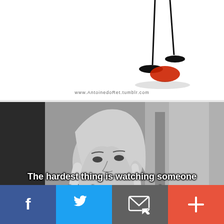[Figure (illustration): Line drawing illustration of two female figures' legs with shoes, one showing a red heart/kiss shape near the foot. Watermark 'www.AntoinedoRet.tumblr.com' at bottom.]
[Figure (photo): Black and white photograph of a young blonde woman looking over her shoulder with a serious expression. Overlay text reads: 'The hardest thing is watching someone you love, love someone else.' A dark share button box is visible in the upper right corner.]
The hardest thing is watching someone you love, love someone else.
[Figure (screenshot): Social media sharing toolbar with four buttons: Facebook (blue), Twitter (blue), Email/message (gray), and More/plus (red-orange).]